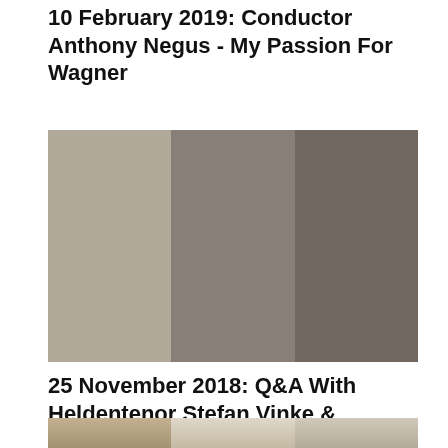10 February 2019: Conductor Anthony Negus - My Passion For Wagner
[Figure (photo): Three photographs showing conductor Anthony Negus speaking at an event. Left: man in light blue shirt and white trousers standing with microphone. Center: man at podium with a woman beside him. Right: audience view of a crowded room with a presenter at the front.]
25 November 2018: Q&A With Heldentenor Stefan Vinke & Christmas Party
[Figure (photo): Partial view of three photographs from the Q&A event with Heldentenor Stefan Vinke and Christmas Party, cropped at bottom of page.]